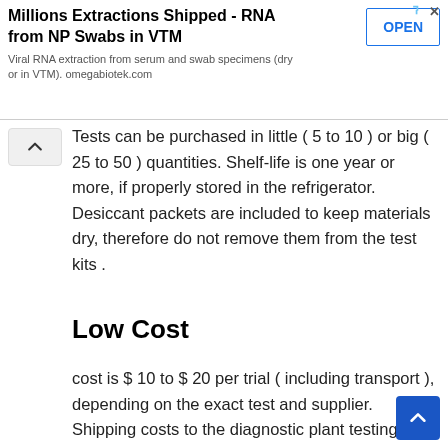[Figure (other): Advertisement banner: 'Millions Extractions Shipped - RNA from NP Swabs in VTM'. Viral RNA extraction from serum and swab specimens (dry or in VTM). omegabiotek.com. With an OPEN button.]
Tests can be purchased in little ( 5 to 10 ) or big ( 25 to 50 ) quantities. Shelf-life is one year or more, if properly stored in the refrigerator. Desiccant packets are included to keep materials dry, therefore do not remove them from the test kits .
Low Cost
cost is $ 10 to $ 20 per trial ( including transport ), depending on the exact test and supplier. Shipping costs to the diagnostic plant testing ground or time taken to drive to an Extension